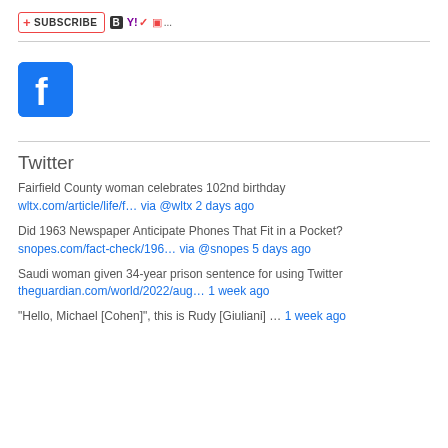[Figure (logo): Subscribe button with RSS icon and social bookmarking icons (Bloglines B, Yahoo Y!, MSN logo, and more ...)]
[Figure (logo): Facebook logo icon - blue square with white 'f']
Twitter
Fairfield County woman celebrates 102nd birthday
wltx.com/article/life/f… via @wltx 2 days ago
Did 1963 Newspaper Anticipate Phones That Fit in a Pocket?
snopes.com/fact-check/196… via @snopes 5 days ago
Saudi woman given 34-year prison sentence for using Twitter
theguardian.com/world/2022/aug… 1 week ago
"Hello, Michael [Cohen]", this is Rudy [Giuliani] … 1 week ago